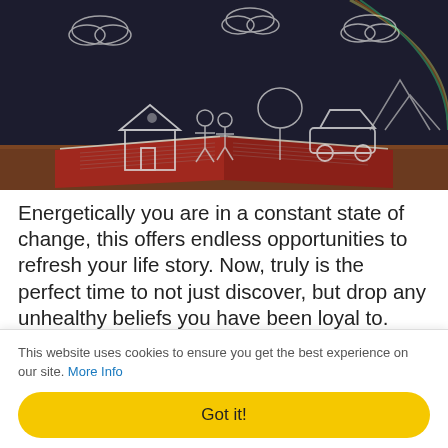[Figure (illustration): Open book with chalk-drawn illustrations floating above it — a house, people, a tree, a car, mountains, and clouds — on a dark chalkboard background with a wooden surface beneath the book.]
Energetically you are in a constant state of change, this offers endless opportunities to refresh your life story. Now, truly is the perfect time to not just discover, but drop any unhealthy beliefs you have been loyal to. With a little discipline these narratives can be rewritten. Keep reading and discover how to update your life story by changing your mindset.
This website uses cookies to ensure you get the best experience on our site. More Info
Got it!